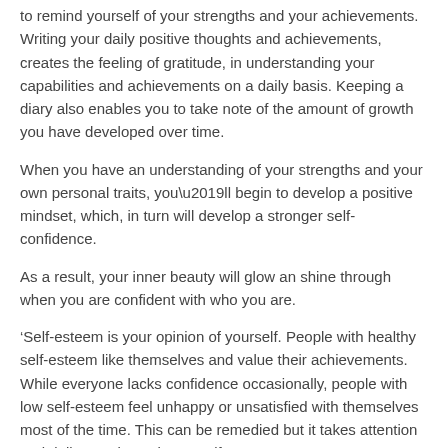to remind yourself of your strengths and your achievements. Writing your daily positive thoughts and achievements, creates the feeling of gratitude, in understanding your capabilities and achievements on a daily basis. Keeping a diary also enables you to take note of the amount of growth you have developed over time.
When you have an understanding of your strengths and your own personal traits, you’ll begin to develop a positive mindset, which, in turn will develop a stronger self-confidence.
As a result, your inner beauty will glow an shine through when you are confident with who you are.
‘Self-esteem is your opinion of yourself. People with healthy self-esteem like themselves and value their achievements. While everyone lacks confidence occasionally, people with low self-esteem feel unhappy or unsatisfied with themselves most of the time. This can be remedied but it takes attention and daily practice to boost self-esteem.
Characteristics of low self-esteem